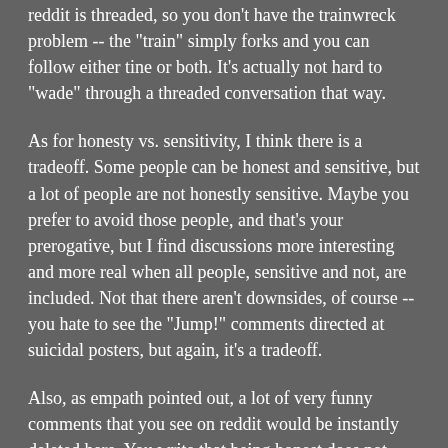reddit is threaded, so you don't have the trainwreck problem -- the "train" simply forks and you can follow either tine or both. It's actually not hard to "wade" through a threaded conversation that way.
As for honesty vs. sensitivity, I think there is a tradeoff. Some people can be honest and sensitive, but a lot of people are not honestly sensitive. Maybe you prefer to avoid those people, and that's your prerogative, but I find discussions more interesting and more real when all people, sensitive and not, are included. Not that there aren't downsides, of course -- you hate to see the "Jump!" comments directed at suicidal posters, but again, it's a tradeoff.
Also, as empath pointed out, a lot of very funny comments that you see on reddit would be instantly deleted here. You write that being honest does not mean that you are required to call someone a retard, and I never, ever use that word myself, but people's creative ad hominems can be not only